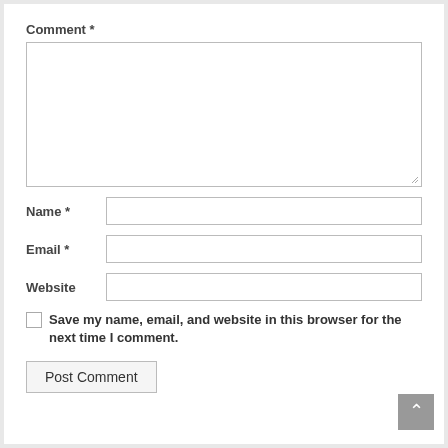Comment *
[Figure (screenshot): Empty textarea comment input box with resize handle]
Name *
Email *
Website
Save my name, email, and website in this browser for the next time I comment.
Post Comment